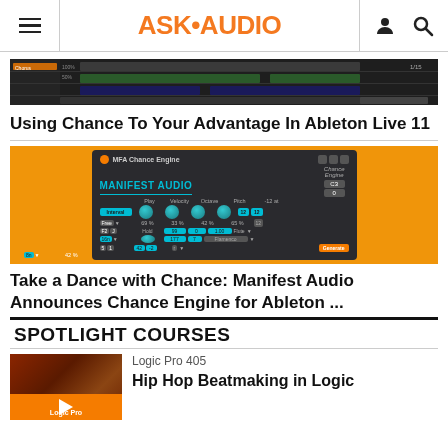ASK•AUDIO
[Figure (screenshot): Ableton Live timeline screenshot showing clips and arrangement view]
Using Chance To Your Advantage In Ableton Live 11
[Figure (screenshot): Manifest Audio MFA Chance Engine plugin interface with knobs for Play, Velocity, Octave, Pitch parameters showing values like 69%, 33%, 42%, 65%]
Take a Dance with Chance: Manifest Audio Announces Chance Engine for Ableton ...
SPOTLIGHT COURSES
Logic Pro 405
Hip Hop Beatmaking in Logic